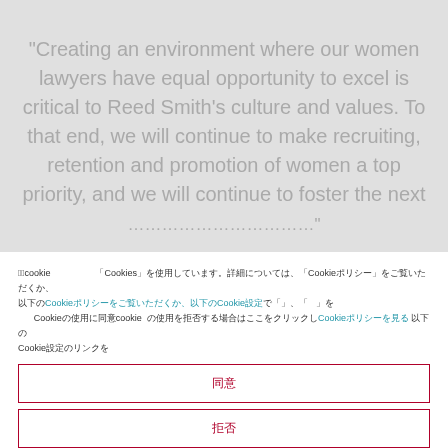“Creating an environment where our women lawyers have equal opportunity to excel is critical to Reed Smith’s culture and values. To that end, we will continue to make recruiting, retention and promotion of women a top priority, and we will continue to foster the next
々3cookie 「Cookies」を使用しています。詳細については、「Cookieポリシー」をご覧いただくか、Cookie設定で「」、「」をクリックしてください。 Cookieの使用に同意cookie の使用を拒否する場合はここをクリックしCookieポリシーを見る Cookie設定
同意
拒否